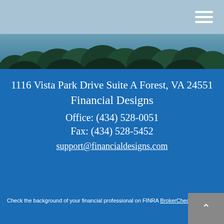Navigation header with hamburger menu
[Figure (photo): Forest/trees aerial photo banner]
1116 Vista Park Drive Suite A Forest, VA 24551
Financial Designs
Office: (434) 528-0051
Fax: (434) 528-5452
support@financialdesigns.com
Check the background of your financial professional on FINRA BrokerCheck.